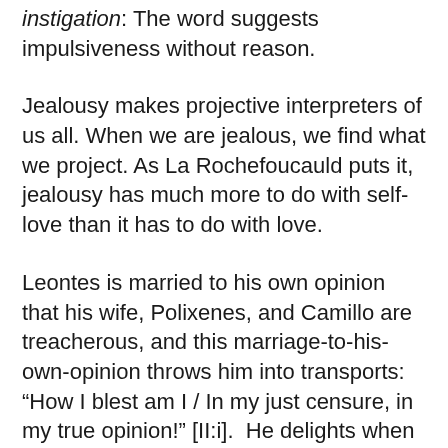instigation: The word suggests impulsiveness without reason.
Jealousy makes projective interpreters of us all. When we are jealous, we find what we project. As La Rochefoucauld puts it, jealousy has much more to do with self-love than it has to do with love.
Leontes is married to his own opinion that his wife, Polixenes, and Camillo are treacherous, and this marriage-to-his-own-opinion throws him into transports: “How I blest am I / In my just censure, in my true opinion!” [II:i].  He delights when his fantasies of jealousy are imaginarily confirmed. Who is this?